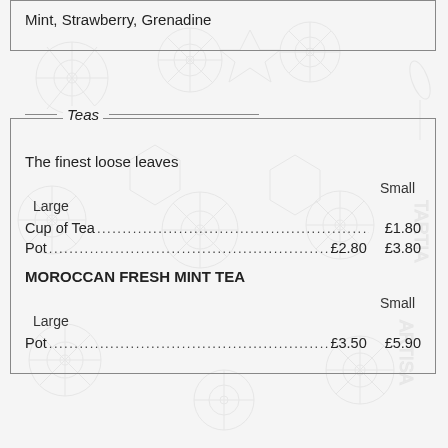Mint, Strawberry, Grenadine
Teas
The finest loose leaves
Small    Large
Cup of Tea ............................................................. £1.80
Pot .......................................................£2.80    £3.80
MOROCCAN FRESH MINT TEA
Small    Large
Pot .......................................................£3.50    £5.90